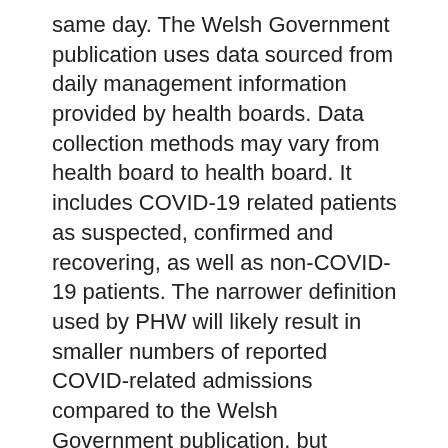same day. The Welsh Government publication uses data sourced from daily management information provided by health boards. Data collection methods may vary from health board to health board. It includes COVID-19 related patients as suspected, confirmed and recovering, as well as non-COVID-19 patients. The narrower definition used by PHW will likely result in smaller numbers of reported COVID-related admissions compared to the Welsh Government publication, but provides a systematic way of carrying out surveillance of patients requiring hospital stays with confirmed COVID-19.
Accompanying tables for this release are available, including all the data shown below and also data concerning general and acute beds, 111 and NHS Direct calls, NHS staff absence, and emergency ambulance calls.